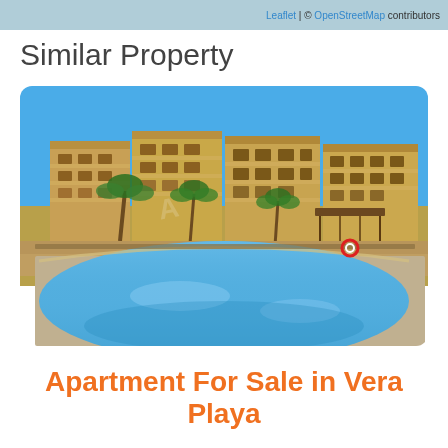Leaflet | © OpenStreetMap contributors
Similar Property
[Figure (photo): Aerial-level photo of a Spanish apartment complex with sandy-beige terracotta buildings, balconies, palm trees, a pergola/gazebo, and a large blue swimming pool in the foreground, against a clear blue sky.]
Apartment For Sale in Vera Playa